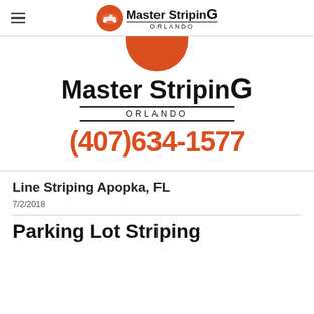Master StripinG ORLANDO
[Figure (logo): Master StripinG Orlando logo with orange circle containing striping machine icon, bold brand name, ORLANDO subtitle, and phone number (407)634-1577]
Line Striping Apopka, FL
7/2/2018
Parking Lot Striping